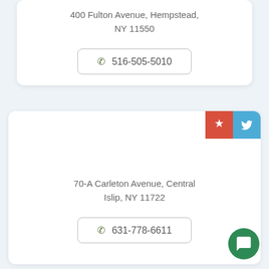400 Fulton Avenue, Hempstead, NY 11550
☎ 516-505-5010
70-A Carleton Avenue, Central Islip, NY 11722
☎ 631-778-6611